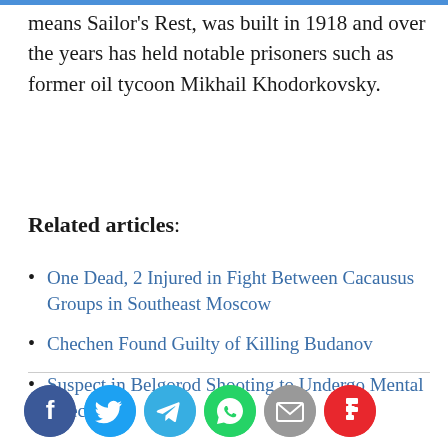means Sailor's Rest, was built in 1918 and over the years has held notable prisoners such as former oil tycoon Mikhail Khodorkovsky.
Related articles:
One Dead, 2 Injured in Fight Between Cacausus Groups in Southeast Moscow
Chechen Found Guilty of Killing Budanov
Suspect in Belgorod Shooting to Undergo Mental Checks
[Figure (other): Social media sharing icons: Facebook, Twitter, Telegram, WhatsApp, Email, Flipboard]